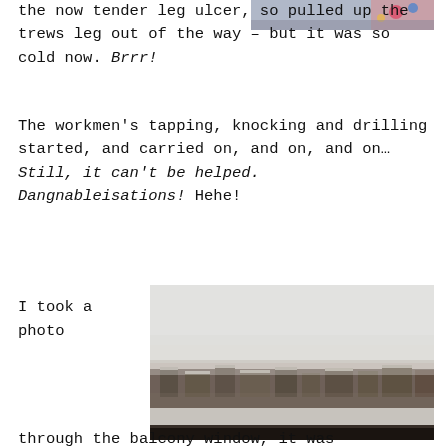the now tender leg ulcer, so pulled up the trews leg out of the way – but it was so cold now. Brrr!
[Figure (photo): Partial view of a colorful object, cropped at top right]
The workmen's tapping, knocking and drilling started, and carried on, and on, and on… Still, it can't be helped. Dangnableisations! Hehe!
I took a photo
[Figure (photo): Photo taken through a balcony window showing a grey, misty cityscape view with snow-dusted rooftops and low visibility]
through the balcony window, it was